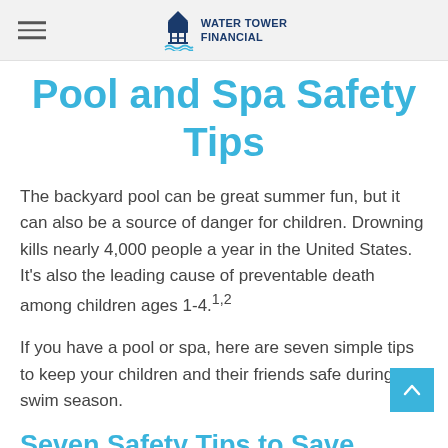Water Tower Financial
Pool and Spa Safety Tips
The backyard pool can be great summer fun, but it can also be a source of danger for children. Drowning kills nearly 4,000 people a year in the United States. It's also the leading cause of preventable death among children ages 1-4.1,2
If you have a pool or spa, here are seven simple tips to keep your children and their friends safe during swim season.
Seven Safety Tips to Save